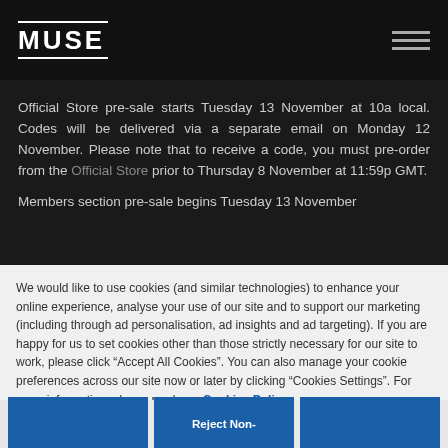MUSE
Official Store pre-sale starts Tuesday 13 November at 10a local. Codes will be delivered via a separate email on Monday 12 November. Please note that to receive a code, you must pre-order from the Official Store prior to Thursday 8 November at 11:59p GMT.
Members section pre-sale begins Tuesday 13 November
We would like to use cookies (and similar technologies) to enhance your online experience, analyse your use of our site and to support our marketing (including through ad personalisation, ad insights and ad targeting). If you are happy for us to set cookies other than those strictly necessary for our site to work, please click “Accept All Cookies”. You can also manage your cookie preferences across our site now or later by clicking “Cookies Settings”. For more information, please read our  Cookies Policy